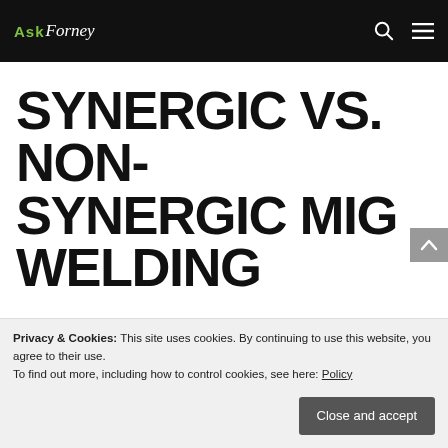Ask Forney
SYNERGIC VS. NON-SYNERGIC MIG WELDING
By Forney Industries | September 2021 | Uncategorized | 2 comments
[Figure (photo): Partial photo of a welder with colorful equipment visible at bottom of page]
Privacy & Cookies: This site uses cookies. By continuing to use this website, you agree to their use.
To find out more, including how to control cookies, see here: Policy
Close and accept